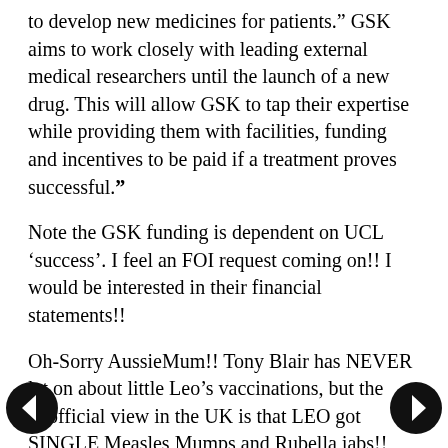to develop new medicines for patients." GSK aims to work closely with leading external medical researchers until the launch of a new drug. This will allow GSK to tap their expertise while providing them with facilities, funding and incentives to be paid if a treatment proves successful."
Note the GSK funding is dependent on UCL 'success'. I feel an FOI request coming on!! I would be interested in their financial statements!!
Oh-Sorry AussieMum!! Tony Blair has NEVER let on about little Leo's vaccinations, but the unofficial view in the UK is that LEO got SINGLE Measles Mumps and Rubella jabs!! There is autism in Cherie's family.